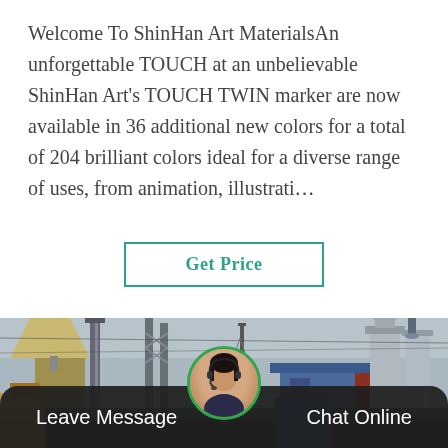Welcome To ShinHan Art MaterialsAn unforgettable TOUCH at an unbelievable ShinHan Art's TOUCH TWIN marker are now available in 36 additional new colors for a total of 204 brilliant colors ideal for a diverse range of uses, from animation, illustrati…
Get Price
[Figure (photo): Industrial construction site with heavy machinery, steel structures, electrical equipment, scaffolding, and workers in hard hats visible in the background]
Leave Message   Chat Online